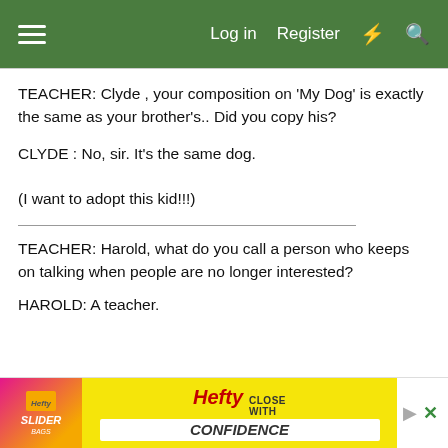Log in  Register
TEACHER: Clyde , your composition on 'My Dog' is exactly the same as your brother's.. Did you copy his?
CLYDE : No, sir. It's the same dog.
(I want to adopt this kid!!!)
TEACHER: Harold, what do you call a person who keeps on talking when people are no longer interested?
HAROLD: A teacher.
[Figure (advertisement): Hefty Slider Bags advertisement with pink/yellow background and 'Close With Confidence' tagline]